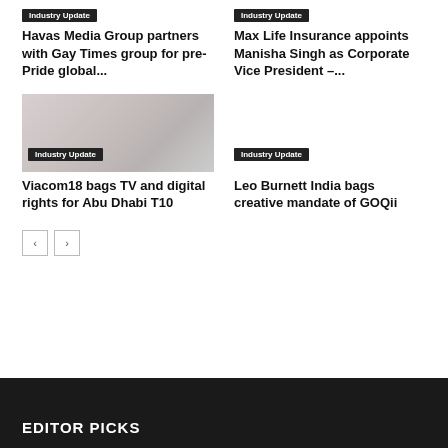Industry Update
Havas Media Group partners with Gay Times group for pre-Pride global...
Industry Update
Max Life Insurance appoints Manisha Singh as Corporate Vice President –...
[Figure (photo): Article thumbnail photo for Viacom18 story]
Industry Update
Industry Update
Viacom18 bags TV and digital rights for Abu Dhabi T10
Leo Burnett India bags creative mandate of GOQii
< >
EDITOR PICKS